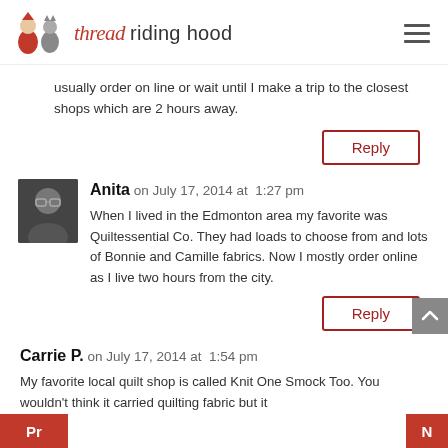thread riding hood
usually order on line or wait until I make a trip to the closest shops which are 2 hours away.
Reply
Anita on July 17, 2014 at  1:27 pm
When I lived in the Edmonton area my favorite was Quiltessential Co. They had loads to choose from and lots of Bonnie and Camille fabrics. Now I mostly order online as I live two hours from the city.
Reply
Carrie P. on July 17, 2014 at  1:54 pm
My favorite local quilt shop is called Knit One Smock Too. You wouldn't think it carried quilting fabric but it